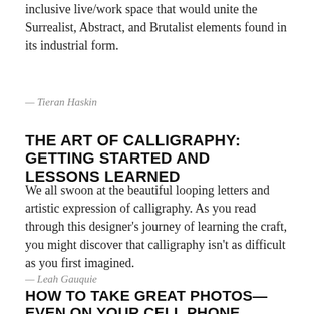inclusive live/work space that would unite the Surrealist, Abstract, and Brutalist elements found in its industrial form.
— Tieran Haskin
THE ART OF CALLIGRAPHY: GETTING STARTED AND LESSONS LEARNED
We all swoon at the beautiful looping letters and artistic expression of calligraphy. As you read through this designer's journey of learning the craft, you might discover that calligraphy isn't as difficult as you first imagined.
— Leah Gauquie
HOW TO TAKE GREAT PHOTOS—EVEN ON YOUR CELL PHONE
With Snapchat and Instagram continuing to rise in